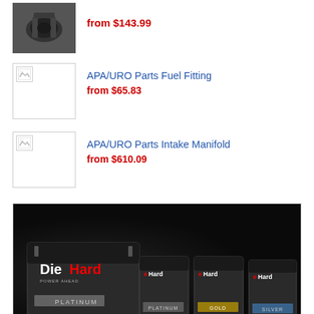[Figure (photo): Car part product thumbnail (dark mechanical component) with price label]
from $143.99
[Figure (photo): Broken image placeholder for APA/URO Parts Fuel Fitting product thumbnail]
APA/URO Parts Fuel Fitting
from $65.83
[Figure (photo): Broken image placeholder for APA/URO Parts Intake Manifold product thumbnail]
APA/URO Parts Intake Manifold
from $610.09
[Figure (photo): DieHard battery advertisement banner showing Platinum, Gold, and Silver battery lineup on dark background]
BUY DIEHARD